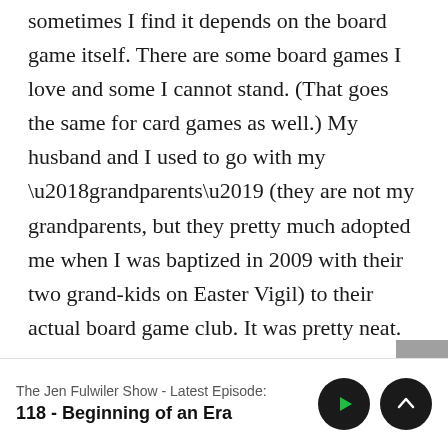sometimes I find it depends on the board game itself. There are some board games I love and some I cannot stand. (That goes the same for card games as well.) My husband and I used to go with my ‘grandparents’ (they are not my grandparents, but they pretty much adopted me when I was baptized in 2009 with their two grand-kids on Easter Vigil) to their actual board game club. It was pretty neat.

As for three cities I would want to live or
The Jen Fulwiler Show - Latest Episode:
118 - Beginning of an Era